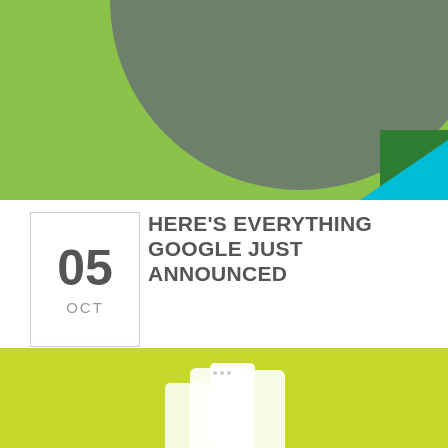[Figure (illustration): Top banner image with yellow-green background, large grey circle, teal/cyan triangle shape, and dark green rectangle on the right side]
HERE'S EVERYTHING GOOGLE JUST ANNOUNCED
BY JOHN IN: NEWS, TECH GEAR - 0 COMMENT
Google's biggest product launch ever wrapped up Tuesday, and a slew of new gadgets are coming soon from the search giant.
Did you miss all the action?
[Figure (photo): Bottom banner with yellow-green background and white smartphone/Google Pixel devices]